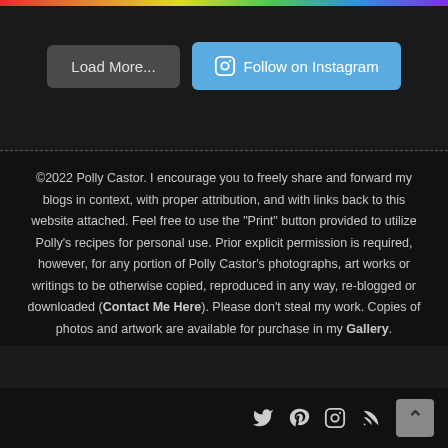[Figure (screenshot): Top colorful rainbow strip/bar at very top edge]
Load More...   Follow on Instagram
©2022 Polly Castor. I encourage you to freely share and forward my blogs in context, with proper attribution, and with links back to this website attached. Feel free to use the "Print" button provided to utilize Polly's recipes for personal use. Prior explicit permission is required, however, for any portion of Polly Castor's photographs, art works or writings to be otherwise copied, reproduced in any way, re-blogged or downloaded (Contact Me Here). Please don't steal my work. Copies of photos and artwork are available for purchase in my Gallery.
[Figure (infographic): Social media icons: Twitter, Pinterest, Instagram, RSS feed, and a back-to-top arrow button]